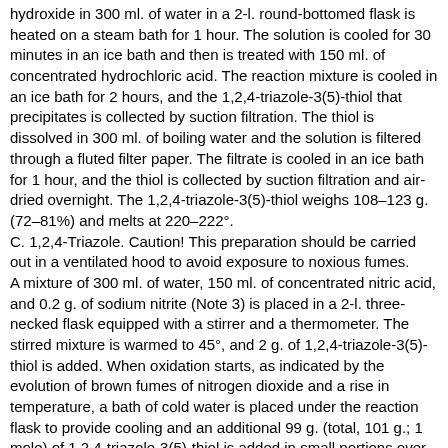hydroxide in 300 ml. of water in a 2-l. round-bottomed flask is heated on a steam bath for 1 hour. The solution is cooled for 30 minutes in an ice bath and then is treated with 150 ml. of concentrated hydrochloric acid. The reaction mixture is cooled in an ice bath for 2 hours, and the 1,2,4-triazole-3(5)-thiol that precipitates is collected by suction filtration. The thiol is dissolved in 300 ml. of boiling water and the solution is filtered through a fluted filter paper. The filtrate is cooled in an ice bath for 1 hour, and the thiol is collected by suction filtration and air-dried overnight. The 1,2,4-triazole-3(5)-thiol weighs 108–123 g. (72–81%) and melts at 220–222°.
C. 1,2,4-Triazole. Caution! This preparation should be carried out in a ventilated hood to avoid exposure to noxious fumes.
A mixture of 300 ml. of water, 150 ml. of concentrated nitric acid, and 0.2 g. of sodium nitrite (Note 3) is placed in a 2-l. three-necked flask equipped with a stirrer and a thermometer. The stirred mixture is warmed to 45°, and 2 g. of 1,2,4-triazole-3(5)-thiol is added. When oxidation starts, as indicated by the evolution of brown fumes of nitrogen dioxide and a rise in temperature, a bath of cold water is placed under the reaction flask to provide cooling and an additional 99 g. (total, 101 g.; 1 mole) of 1,2,4-triazole-3(5)-thiol is added in small portions over the course of 30–60 minutes. The rate of addition and the extent of cooling by the water bath are so regulated as to keep the temperature close to 45–47° all during the addition. The water bath is kept cold by the occasional addition of ice.
When the addition is completed, the bath is removed and stirring is continued for 1 hour while the reaction mixture gradually cools to room temperature. Sodium carbonate (100 g.) is added in portions, followed by the cautious addition of 60 g. of sodium bicarbonate